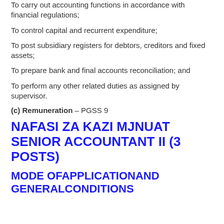To carry out accounting functions in accordance with financial regulations;
To control capital and recurrent expenditure;
To post subsidiary registers for debtors, creditors and fixed assets;
To prepare bank and final accounts reconciliation; and
To perform any other related duties as assigned by supervisor.
(c) Remuneration – PGSS 9
NAFASI ZA KAZI MJNUAT SENIOR ACCOUNTANT II (3 POSTS)
MODE OFAPPLICATIONAND GENERALCONDITIONS